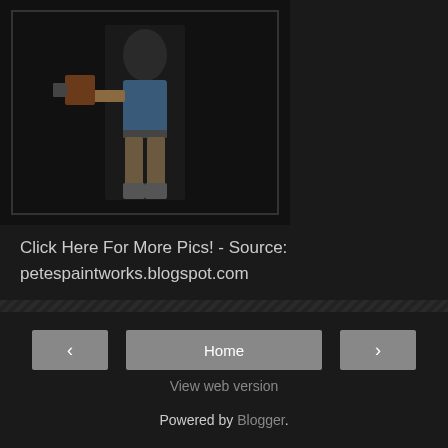[Figure (photo): A figurine or action figure of a person dressed in western/cowboy style clothing holding a weapon, photographed against a dark background]
Click Here For More Pics! - Source: petespaintworks.blogspot.com
Evil Dead News Editor at 8:11 PM   1 comment:
Share
Home  View web version  Powered by Blogger.